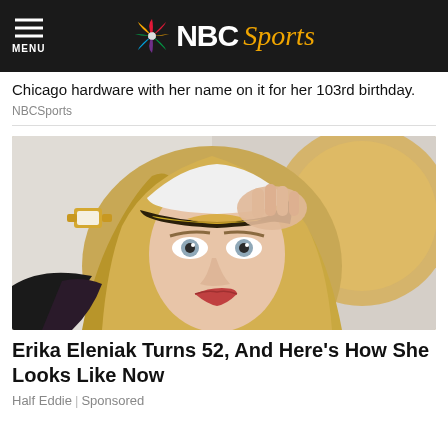NBC Sports
Chicago hardware with her name on it for her 103rd birthday.
NBCSports
[Figure (photo): A blonde woman wearing a white captain's hat with gold braid trim, holding the brim of the hat. She has blue-grey eyes, wears light makeup, and has a gold watch on her wrist. Background is light with a golden orb shape.]
Erika Eleniak Turns 52, And Here's How She Looks Like Now
Half Eddie | Sponsored